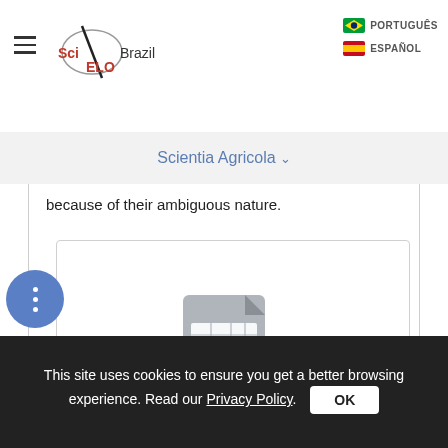SciELO Brazil | PORTUGUÊS | ESPAÑOL
Scientia Agricola
because of their ambiguous nature.
[Figure (screenshot): A spreadsheet/table file icon (gray document with grid lines) shown as a placeholder image inside a bordered box, with a blue magnify/zoom-in button in the bottom right corner.]
This site uses cookies to ensure you get a better browsing experience. Read our Privacy Policy.